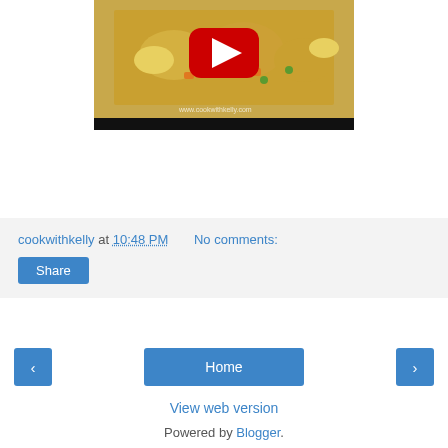[Figure (screenshot): YouTube video thumbnail showing fried rice dish with YouTube play button overlay, watermark www.cookwithkelly.com visible at bottom right, dark progress bar at bottom]
cookwithkelly at 10:48 PM   No comments:
Share
‹
Home
›
View web version
Powered by Blogger.